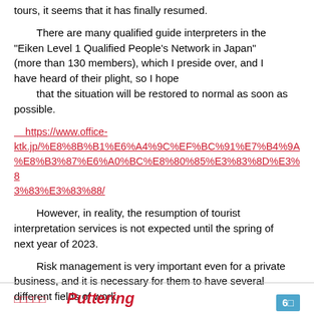tours, it seems that it has finally resumed.
There are many qualified guide interpreters in the "Eiken Level 1 Qualified People's Network in Japan" (more than 130 members), which I preside over, and I have heard of their plight, so I hope
    that the situation will be restored to normal as soon as possible.
https://www.office-ktk.jp/%E8%8B%B1%E6%A4%9C%EF%BC%91%E7%B4%9A%E8%B3%87%E6%A0%BC%E8%80%85%E3%83%8D%E3%83%83%E3%83%88%E3%83%88%E3%83%BC%E3%82%AF/
However, in reality, the resumption of tourist interpretation services is not expected until the spring of next year of 2023.
Risk management is very important even for a private business, and it is necessary for them to have several different fields of work.
□□□□□
□□□□□   Puttering   6□